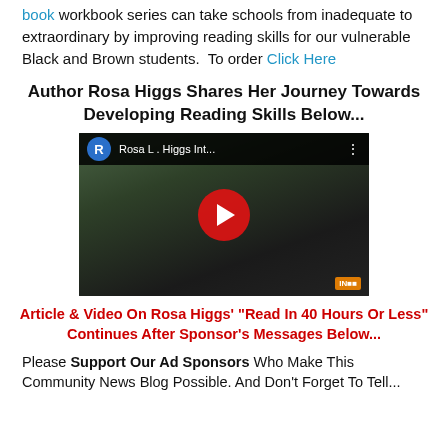workbook series can take schools from inadequate to extraordinary by improving reading skills for our vulnerable Black and Brown students. To order Click Here
Author Rosa Higgs Shares Her Journey Towards Developing Reading Skills Below...
[Figure (screenshot): YouTube video thumbnail showing Rosa L. Higgs Int... with a red play button in center, avatar with letter R, person visible in background]
Article & Video On Rosa Higgs' "Read In 40 Hours Or Less" Continues After Sponsor's Messages Below...
Please Support Our Ad Sponsors Who Make This Community News Blog Possible. And Don't Forget To Tell...